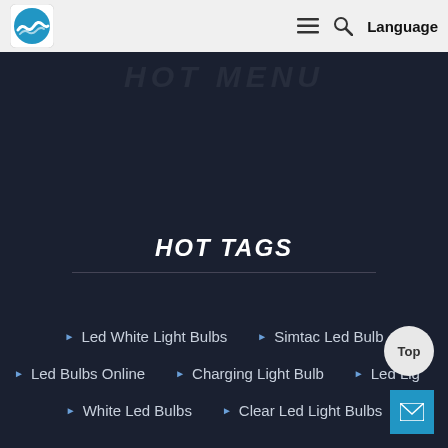[Figure (logo): Blue wave logo icon in a white rounded square]
HOT MENU  ≡  🔍  Language
HOT TAGS
Led White Light Bulbs
Simtac Led Bulb
Led Bulbs Online
Charging Light Bulb
Led Lig...
White Led Bulbs
Clear Led Light Bulbs